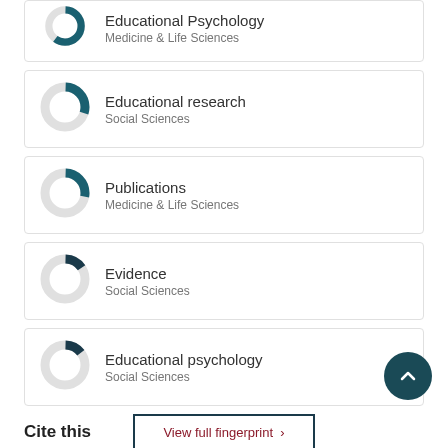[Figure (donut-chart): Partial donut chart for Educational Psychology, Medicine & Life Sciences, shown cropped at top]
Educational Psychology
Medicine & Life Sciences
[Figure (donut-chart): Donut chart approximately 30% filled teal for Educational research]
Educational research
Social Sciences
[Figure (donut-chart): Donut chart approximately 28% filled teal for Publications]
Publications
Medicine & Life Sciences
[Figure (donut-chart): Donut chart approximately 15% filled dark for Evidence]
Evidence
Social Sciences
[Figure (donut-chart): Donut chart approximately 14% filled dark for Educational psychology]
Educational psychology
Social Sciences
View full fingerprint  ›
Cite this